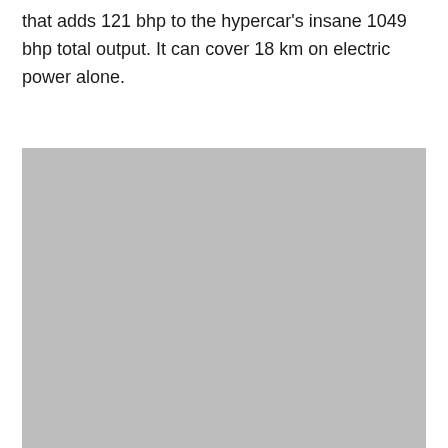that adds 121 bhp to the hypercar's insane 1049 bhp total output. It can cover 18 km on electric power alone.
[Figure (photo): A large grey placeholder image occupying the lower portion of the page.]